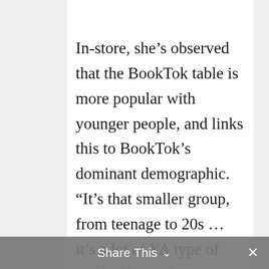In-store, she’s observed that the BookTok table is more popular with younger people, and links this to BookTok’s dominant demographic. “It’s that smaller group, from teenage to 20s … it’s a lot of YA type of stuff,” she said.
She’s particularly fascinated by the case of Colleen Hoover, a romance novelist whose books, pre-BookTok, weren’t widely distributed outside of the U.S. When BookTok picked up her 2016 novel It Ends With Us, Hoover’s fame exploded. Bolen Books keeps an entire
Share This ⌄